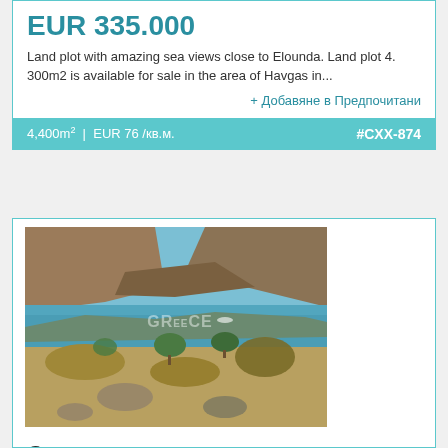EUR 335.000
Land plot with amazing sea views close to Elounda. Land plot 4.300m2 is available for sale in the area of Havgas in...
+ Добавяне в Предпочитани
4,400m² | EUR 76 /кв.м.    #CXX-874
[Figure (photo): Scenic coastal landscape with blue water bay, hills, olive trees and dry vegetation in foreground. GReece watermark visible.]
Строителен парцел